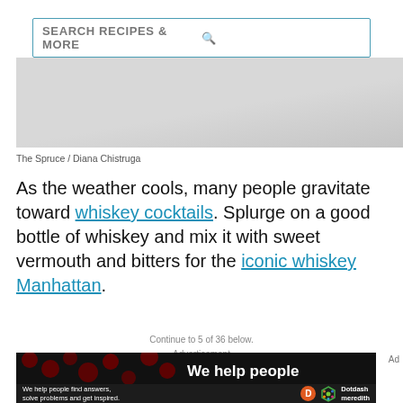[Figure (screenshot): Search bar with text SEARCH RECIPES & MORE and magnifying glass icon]
[Figure (photo): Partial photo of a drink or food item, light gray toned]
The Spruce / Diana Chistruga
As the weather cools, many people gravitate toward whiskey cocktails. Splurge on a good bottle of whiskey and mix it with sweet vermouth and bitters for the iconic whiskey Manhattan.
Continue to 5 of 36 below.
Advertisement
[Figure (screenshot): Advertisement banner: We help people (with red dot background), bottom bar: We help people find answers, solve problems and get inspired. Dotdash meredith logo]
Ad